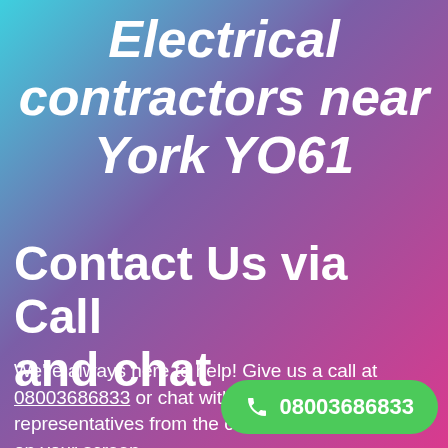Electrical contractors near York YO61
Contact Us via Call and chat
We're always here to help! Give us a call at 08003686833 or chat with one of our representatives from the comfort on your screen.
☎ 08003686833